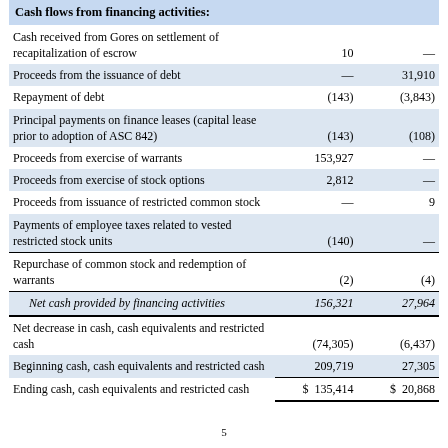|  |  |  |
| --- | --- | --- |
| Cash flows from financing activities: |  |  |
| Cash received from Gores on settlement of recapitalization of escrow | 10 | — |
| Proceeds from the issuance of debt | — | 31,910 |
| Repayment of debt | (143) | (3,843) |
| Principal payments on finance leases (capital lease prior to adoption of ASC 842) | (143) | (108) |
| Proceeds from exercise of warrants | 153,927 | — |
| Proceeds from exercise of stock options | 2,812 | — |
| Proceeds from issuance of restricted common stock | — | 9 |
| Payments of employee taxes related to vested restricted stock units | (140) | — |
| Repurchase of common stock and redemption of warrants | (2) | (4) |
| Net cash provided by financing activities | 156,321 | 27,964 |
| Net decrease in cash, cash equivalents and restricted cash | (74,305) | (6,437) |
| Beginning cash, cash equivalents and restricted cash | 209,719 | 27,305 |
| Ending cash, cash equivalents and restricted cash | $ 135,414 | $ 20,868 |
5